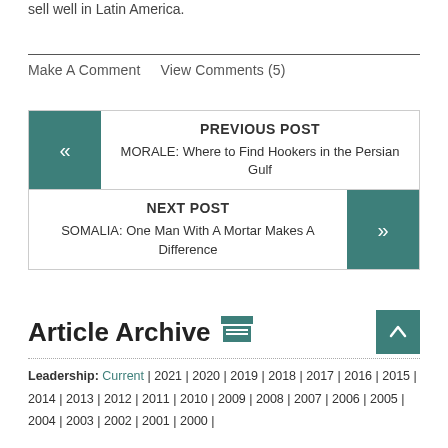sell well in Latin America.
Make A Comment    View Comments (5)
PREVIOUS POST
MORALE: Where to Find Hookers in the Persian Gulf
NEXT POST
SOMALIA: One Man With A Mortar Makes A Difference
Article Archive
Leadership: Current | 2021 | 2020 | 2019 | 2018 | 2017 | 2016 | 2015 | 2014 | 2013 | 2012 | 2011 | 2010 | 2009 | 2008 | 2007 | 2006 | 2005 | 2004 | 2003 | 2002 | 2001 | 2000 |